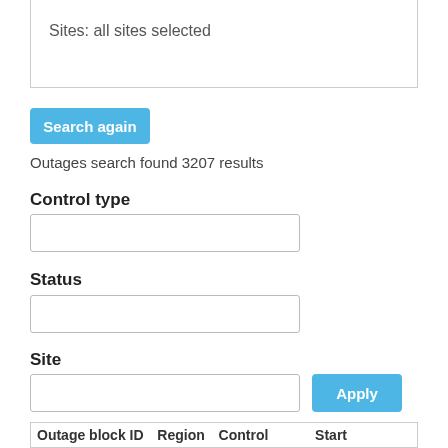Sites: all sites selected
Search again
Outages search found 3207 results
Control type
Status
Site
Apply
| Outage block ID | Region | Control | Start |
| --- | --- | --- | --- |